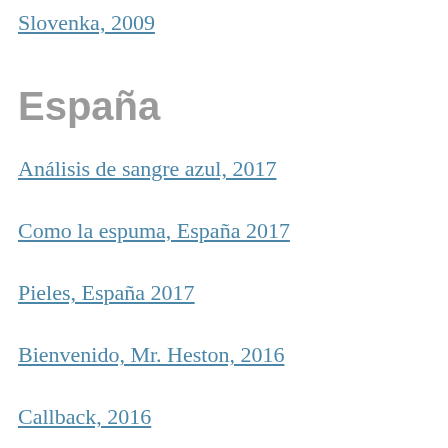Slovenka, 2009
España
Análisis de sangre azul, 2017
Como la espuma, España 2017
Pieles, España 2017
Bienvenido, Mr. Heston, 2016
Callback, 2016
Criando ratas, 2016